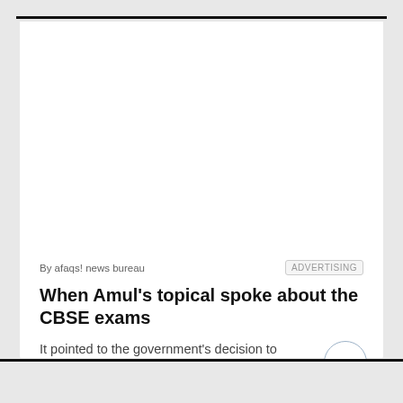[Figure (other): White advertisement placeholder area at top of card]
By afaqs! news bureau
ADVERTISING
When Amul's topical spoke about the CBSE exams
It pointed to the government's decision to postpone class 12 board exams and cancel class 10 exams.